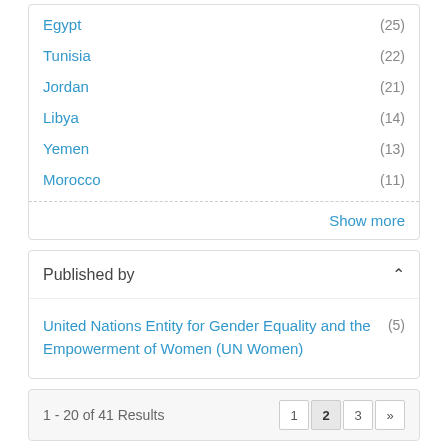Egypt (25)
Tunisia (22)
Jordan (21)
Libya (14)
Yemen (13)
Morocco (11)
Show more
Published by
United Nations Entity for Gender Equality and the Empowerment of Women (UN Women) (5)
1 - 20 of 41 Results
[Figure (photo): Small thumbnail photo of a street scene with a person]